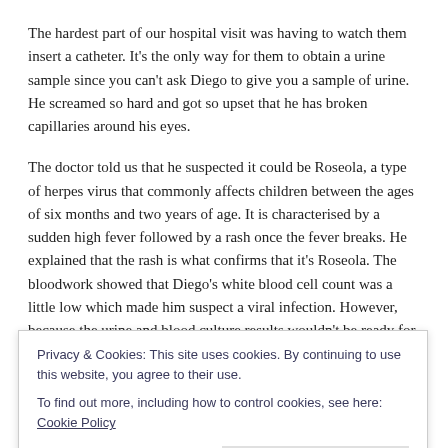The hardest part of our hospital visit was having to watch them insert a catheter. It's the only way for them to obtain a urine sample since you can't ask Diego to give you a sample of urine. He screamed so hard and got so upset that he has broken capillaries around his eyes.
The doctor told us that he suspected it could be Roseola, a type of herpes virus that commonly affects children between the ages of six months and two years of age. It is characterised by a sudden high fever followed by a rash once the fever breaks. He explained that the rash is what confirms that it's Roseola. The bloodwork showed that Diego's white blood cell count was a little low which made him suspect a viral infection. However, because the urine and blood culture results wouldn't be ready for a while he started Diego on
Privacy & Cookies: This site uses cookies. By continuing to use this website, you agree to their use.
To find out more, including how to control cookies, see here: Cookie Policy
Close and accept
Diego's fever did not rise to higher than 102 F following our visit to the